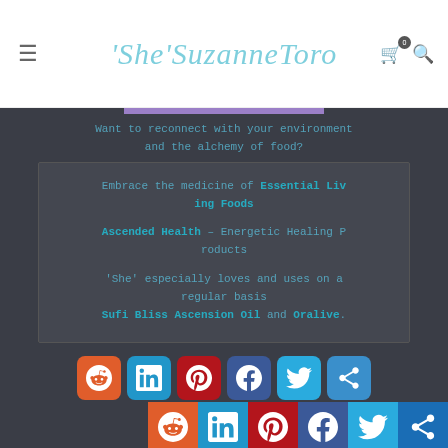'She'SuzanneToro
Want to reconnect with your environment and the alchemy of food?
Embrace the medicine of Essential Living Foods
Ascended Health – Energetic Healing Products
'She' especially loves and uses on a regular basis
Sufi Bliss Ascension Oil and Oralive.
[Figure (infographic): Social media sharing icons row: Reddit, LinkedIn, Pinterest, Facebook, Twitter, Share (plus/more). A second partial row of the same icons appears at the bottom of the page.]